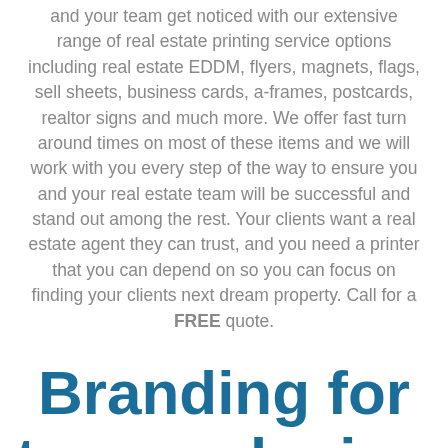and your team get noticed with our extensive range of real estate printing service options including real estate EDDM, flyers, magnets, flags, sell sheets, business cards, a-frames, postcards, realtor signs and much more. We offer fast turn around times on most of these items and we will work with you every step of the way to ensure you and your real estate team will be successful and stand out among the rest. Your clients want a real estate agent they can trust, and you need a printer that you can depend on so you can focus on finding your clients next dream property. Call for a FREE quote.
Branding for top producing realtors